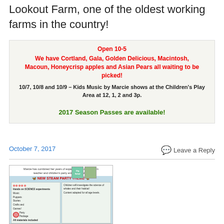Lookout Farm, one of the oldest working farms in the country!
[Figure (infographic): Farm advertisement box with red text announcing Open 10-5, apple varieties available for picking (Cortland, Gala, Golden Delicious, Macintosh, Macoun, Honeycrisp apples and Asian Pears), Kids Music by Marcie shows schedule, and green text about 2017 Season Passes.]
October 7, 2017
Leave a Reply
[Figure (infographic): Advertisement for a New Steam Party Theme featuring hands-on science experiments, music, puppets, stories, crafts and games; children will investigate the science of whales and their habitat; content adapted for all age levels; all materials included.]